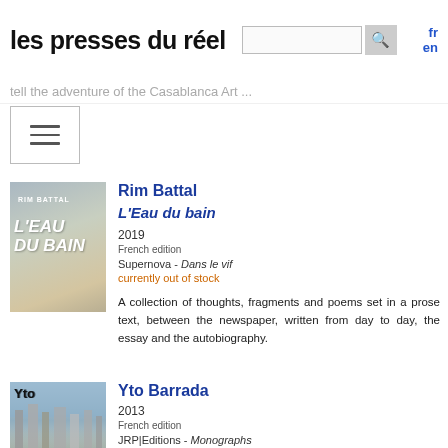les presses du réel
tell the adventure of the Casablanca Art
[Figure (screenshot): Hamburger/menu icon button]
[Figure (photo): Book cover: L'Eau du bain by Rim Battal, bluish-grey misty background with bold italic white title text]
Rim Battal
L'Eau du bain
2019
French edition
Supernova - Dans le vif
currently out of stock
A collection of thoughts, fragments and poems set in a prose text, between the newspaper, written from day to day, the essay and the autobiography.
[Figure (photo): Book cover: Yto Barrada, cityscape with buildings and blue sky, label 'Yto' in black text]
Yto Barrada
2013
French edition
JRP|Editions - Monographs